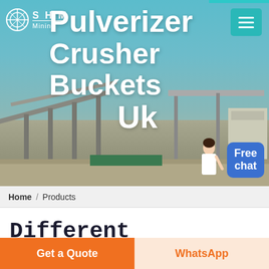[Figure (photo): Mining/quarry equipment site with conveyor belts and industrial machinery against a teal-toned sky, with the SHM Mining logo and navigation menu overlay]
Pulverizer Crusher Buckets Uk
Home / Products
Different Machines To Meet All Need
Get a Quote
WhatsApp